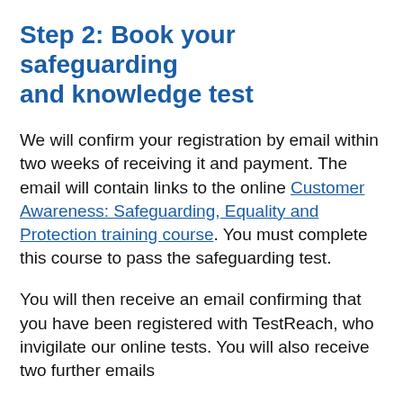Step 2: Book your safeguarding and knowledge test
We will confirm your registration by email within two weeks of receiving it and payment. The email will contain links to the online Customer Awareness: Safeguarding, Equality and Protection training course. You must complete this course to pass the safeguarding test.
You will then receive an email confirming that you have been registered with TestReach, who invigilate our online tests. You will also receive two further emails